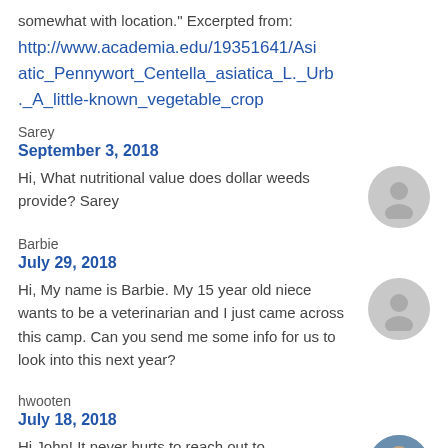somewhat with location." Excerpted from:
http://www.academia.edu/19351641/Asiatic_Pennywort_Centella_asiatica_L._Urb._A_little-known_vegetable_crop
Sarey
September 3, 2018
Hi, What nutritional value does dollar weeds provide? Sarey
Barbie
July 29, 2018
Hi, My name is Barbie. My 15 year old niece wants to be a veterinarian and I just came across this camp. Can you send me some info for us to look into this next year?
hwooten
July 18, 2018
Hi John! It never hurts to reach out to